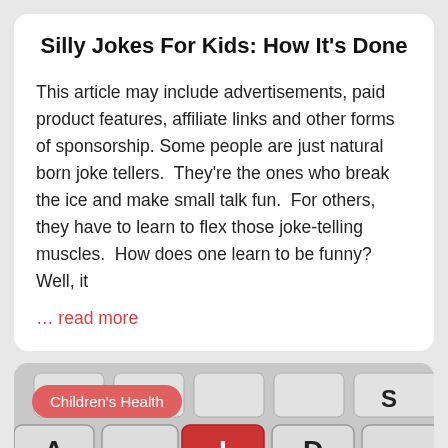Silly Jokes For Kids: How It's Done
This article may include advertisements, paid product features, affiliate links and other forms of sponsorship. Some people are just natural born joke tellers.  They're the ones who break the ice and make small talk fun.  For others, they have to learn to flex those joke-telling muscles.  How does one learn to be funny? Well, it
… read more
[Figure (photo): Close-up photo of computer keyboard keys showing letters A, I (red key), D, S, M in large white letters on gray/white keys. A 'Children's Health' badge overlay appears in the top-left corner.]